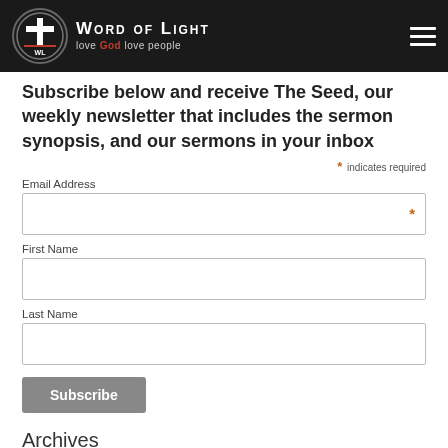Word of Light — love God love people
Subscribe below and receive The Seed, our weekly newsletter that includes the sermon synopsis, and our sermons in your inbox
* indicates required
Email Address
First Name
Last Name
Subscribe
Archives